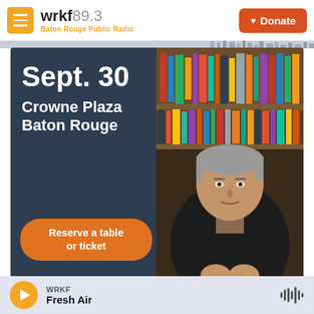wrkf89.3 Baton Rouge Public Radio | Donate
[Figure (infographic): Event banner for Sept. 30 at Crowne Plaza Baton Rouge with photo of older man with gray hair at desk with bookshelves behind him, dark blue background, orange 'Reserve a table or ticket' button]
Louisiana Considered
WRKF
Fresh Air